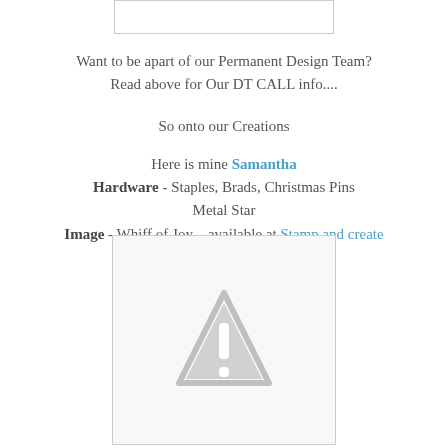[Figure (other): Partial image box at top, white rectangle with light border]
Want to be apart of our Permanent Design Team?
Read above for Our DT CALL info....
So onto our Creations
Here is mine Samantha
Hardware - Staples, Brads, Christmas Pins
Metal Star
Image - Whiff of Joy – available at Stamp and create
[Figure (other): Image placeholder with warning triangle icon, image failed to load]